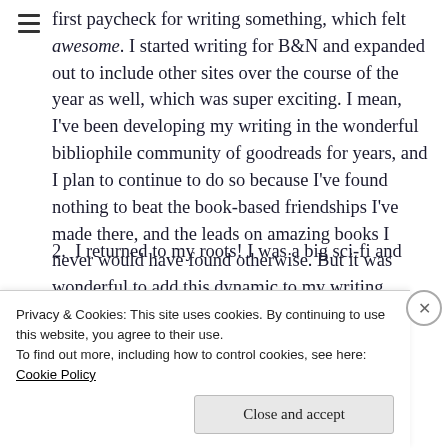first paycheck for writing something, which felt awesome. I started writing for B&N and expanded out to include other sites over the course of the year as well, which was super exciting. I mean, I've been developing my writing in the wonderful bibliophile community of goodreads for years, and I plan to continue to do so because I've found nothing to beat the book-based friendships I've made there, and the leads on amazing books I never would have found otherwise. But it was wonderful to add this dynamic to my writing.
2. I returned to my roots! I was a big sci-fi and
Privacy & Cookies: This site uses cookies. By continuing to use this website, you agree to their use. To find out more, including how to control cookies, see here: Cookie Policy